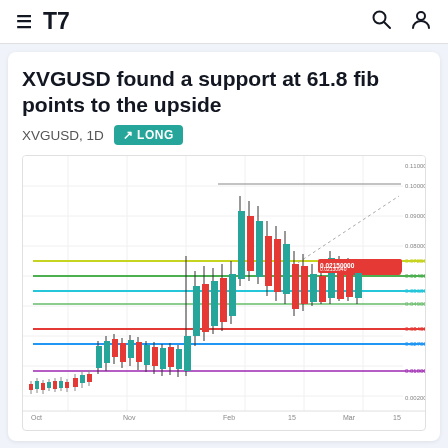TradingView navigation header
XVGUSD found a support at 61.8 fib points to the upside
XVGUSD, 1D  LONG
[Figure (continuous-plot): Candlestick chart of XVGUSD on 1D timeframe showing price action with Fibonacci retracement levels drawn as horizontal colored lines (yellow-green, green, teal/cyan, green, red, blue, purple). The chart shows a significant price rise and then decline, with the current price near the 61.8% Fibonacci support level. Multiple colored horizontal lines mark key Fibonacci retracement levels across the right side of the chart.]